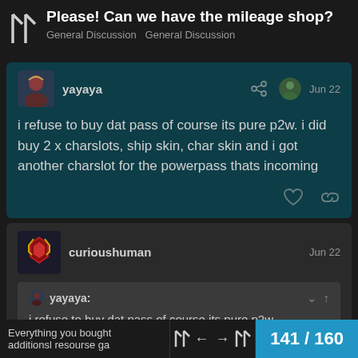Please! Can we have the mileage shop? General Discussion General Discussion
yayaya
Jun 22
i refuse to buy dat pass of course its pure p2w. i did buy 2 x charslots, ship skin, char skin and i got another charslot for the powerpass thats incoming
curioushuman
Jun 22
yayaya:
i refuse to buy dat pass of course its pure p2w
Everything you bought
additionsl resourse ga
141 / 160